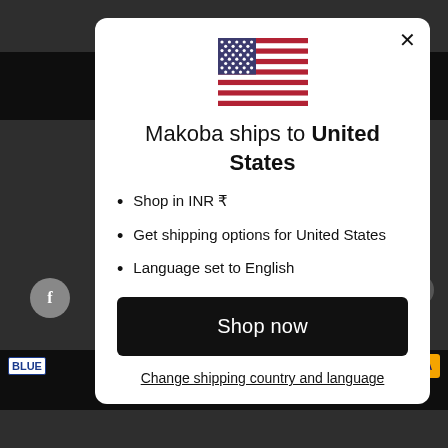[Figure (screenshot): Website background with dark header bar and footer bar, Facebook icon, caret icon, BLUE and VISA payment badges]
[Figure (illustration): US flag icon centered at top of modal]
Makoba ships to United States
Shop in INR ₹
Get shipping options for United States
Language set to English
Shop now
Change shipping country and language